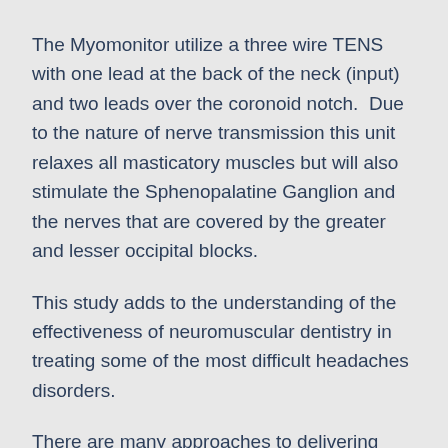The Myomonitor utilize a three wire TENS with one lead at the back of the neck (input) and two leads over the coronoid notch.  Due to the nature of nerve transmission this unit relaxes all masticatory muscles but will also stimulate the Sphenopalatine Ganglion and the nerves that are covered by the greater and lesser occipital blocks.
This study adds to the understanding of the effectiveness of neuromuscular dentistry in treating some of the most difficult headaches disorders.
There are many approaches to delivering SPG Blocks, both intra-oral and extra-oral injections as well as nasal approaches using catheters. There are three commercially available nasal catheter systems, the